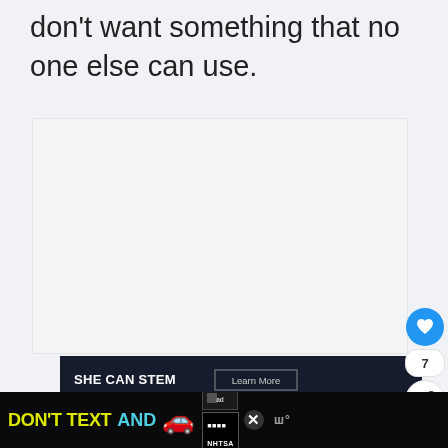don't want something that no one else can use.
[Figure (other): Large blank/white content area, likely an embedded media or article placeholder]
[Figure (other): SHE CAN STEM advertisement banner with 'Learn More' button on dark background]
[Figure (other): Heart/like button (blue circle) with count 7, and share button on right side]
[Figure (other): What's Next promo showing dog photo with text 'Best Dog Names...']
[Figure (other): Bottom advertisement banner: DON'T TEXT AND (drive) NHTSA public safety ad with car emoji, close button, and media logo]